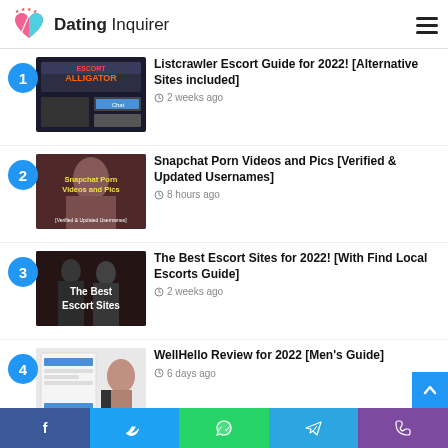Dating Inquirer
Listcrawler Escort Guide for 2022! [Alternative Sites included] — 2 weeks ago
Snapchat Porn Videos and Pics [Verified & Updated Usernames] — 8 hours ago
The Best Escort Sites for 2022! [With Find Local Escorts Guide] — 2 weeks ago
WellHello Review for 2022 [Men's Guide] — 6 days ago
Facebook | Twitter | WhatsApp | Telegram | Phone